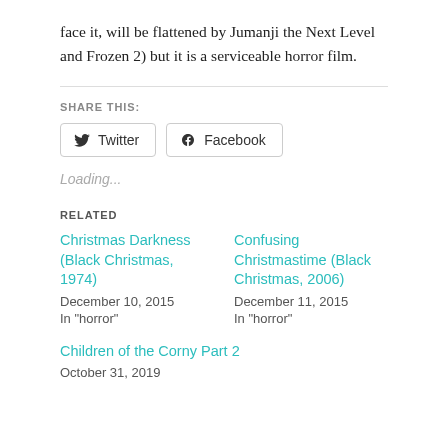face it, will be flattened by Jumanji the Next Level and Frozen 2) but it is a serviceable horror film.
SHARE THIS:
Loading...
RELATED
Christmas Darkness (Black Christmas, 1974)
December 10, 2015
In "horror"
Confusing Christmastime (Black Christmas, 2006)
December 11, 2015
In "horror"
Children of the Corny Part 2
October 31, 2019